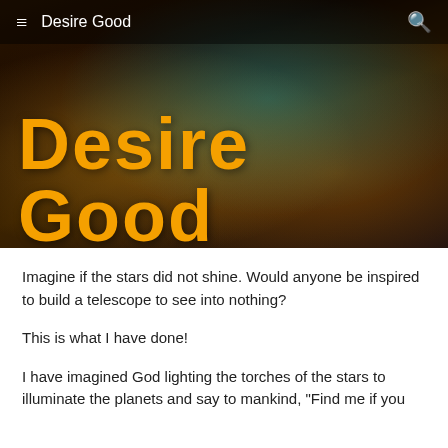≡  Desire Good
Desire Good
Imagine if the stars did not shine. Would anyone be inspired to build a telescope to see into nothing?
This is what I have done!
I have imagined God lighting the torches of the stars to illuminate the planets and say to mankind, "Find me if you